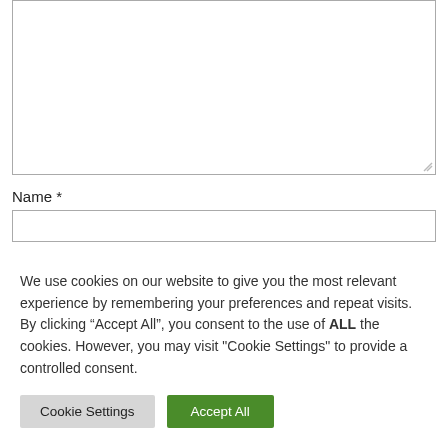[Figure (screenshot): A textarea input box (empty, resizable) at the top of the page]
Name *
[Figure (screenshot): A text input field for Name]
We use cookies on our website to give you the most relevant experience by remembering your preferences and repeat visits. By clicking “Accept All”, you consent to the use of ALL the cookies. However, you may visit "Cookie Settings" to provide a controlled consent.
Cookie Settings
Accept All